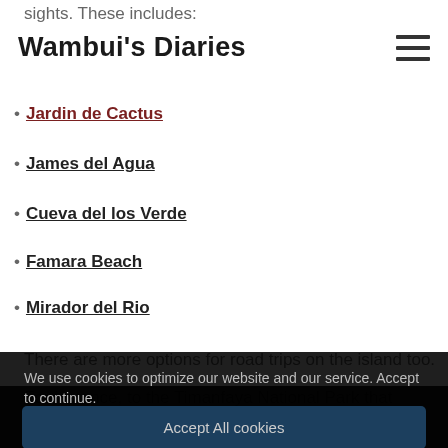sights. These includes:
Wambui's Diaries
Jardin de Cactus
James del Agua
Cueva del los Verde
Famara Beach
Mirador del Rio
There are more options for road trips on the island too.
For instance, to the Timanfaya National Park that...
We use cookies to optimize our website and our service. Accept to continue.
Accept All cookies
Accept Functional only